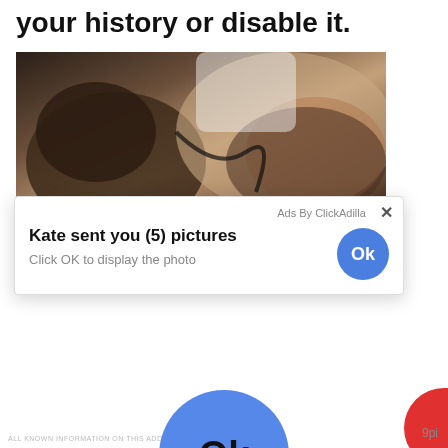your history or disable it.
[Figure (photo): Photo of two people lying down, man and woman, indoors on a bed]
Ads By ClickAdilla ×
Kate sent you (5) pictures
Click OK to display the photo
[Figure (other): Large blue circular Ok button]
9pi